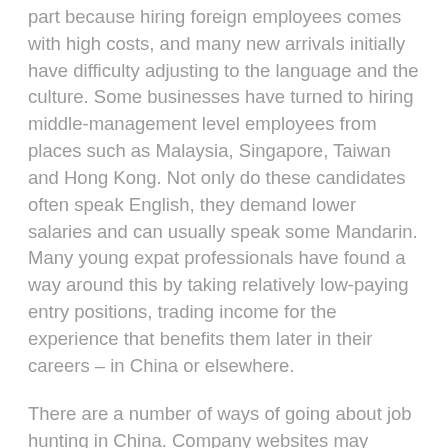part because hiring foreign employees comes with high costs, and many new arrivals initially have difficulty adjusting to the language and the culture. Some businesses have turned to hiring middle-management level employees from places such as Malaysia, Singapore, Taiwan and Hong Kong. Not only do these candidates often speak English, they demand lower salaries and can usually speak some Mandarin. Many young expat professionals have found a way around this by taking relatively low-paying entry positions, trading income for the experience that benefits them later in their careers – in China or elsewhere.
There are a number of ways of going about job hunting in China. Company websites may provide listings of available postings, while online job portals and employment networking websites, such as Glassdoor, XpatJobs and LinkedIn, are also a good starting point. Expats may also find the services of recruitment agencies helpful.